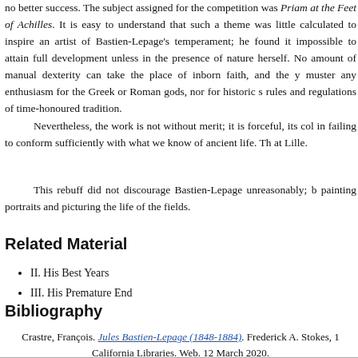no better success. The subject assigned for the competition was Priam at the Feet of Achilles. It is easy to understand that such a theme was little calculated to inspire an artist of Bastien-Lepage's temperament; he found it impossible to attain full development unless in the presence of nature herself. No amount of manual dexterity can take the place of inborn faith, and the y muster any enthusiasm for the Greek or Roman gods, nor for historic s rules and regulations of time-honoured tradition.
Nevertheless, the work is not without merit; it is forceful, its col in failing to conform sufficiently with what we know of ancient life. Th at Lille.
This rebuff did not discourage Bastien-Lepage unreasonably; b painting portraits and picturing the life of the fields.
Related Material
II. His Best Years
III. His Premature End
Bibliography
Crastre, François. Jules Bastien-Lepage (1848-1884). Frederick A. Stokes, 1 California Libraries. Web. 12 March 2020.